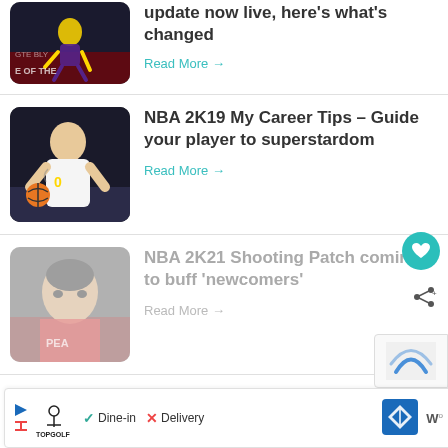update now live, here's what's changed
Read More →
[Figure (photo): NBA 2K basketball player in purple Lakers jersey dribbling]
NBA 2K19 My Career Tips – Guide your player to superstardom
Read More →
[Figure (photo): NBA 2K player in white Warriors jersey holding ball, faded/muted]
NBA 2K21 Shooting Patch coming to buff 'newcomers'
Read More →
[Figure (photo): Faded close-up of basketball player in red jersey]
Ad: TOPGOLF – Dine-in · Delivery